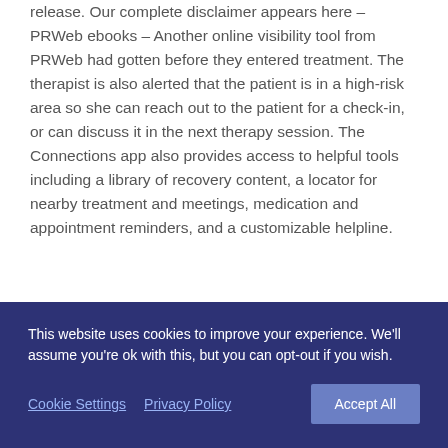release. Our complete disclaimer appears here – PRWeb ebooks – Another online visibility tool from PRWeb had gotten before they entered treatment. The therapist is also alerted that the patient is in a high-risk area so she can reach out to the patient for a check-in, or can discuss it in the next therapy session. The Connections app also provides access to helpful tools including a library of recovery content, a locator for nearby treatment and meetings, medication and appointment reminders, and a customizable helpline.
This website uses cookies to improve your experience. We'll assume you're ok with this, but you can opt-out if you wish.
Cookie Settings   Privacy Policy   Accept All